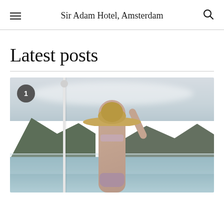Sir Adam Hotel, Amsterdam
Latest posts
[Figure (photo): A woman in a large sun hat and bikini standing on a rooftop or poolside terrace with glass railing, overlooking a coastal landscape with hills and water in the background. A numbered badge '1' appears in the top left corner of the image.]